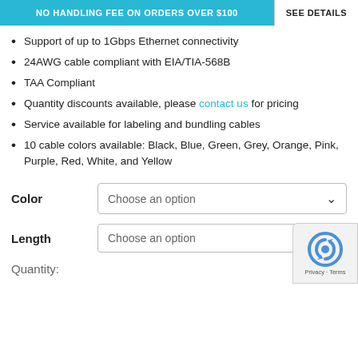NO HANDLING FEE ON ORDERS OVER $100   SEE DETAILS
Support of up to 1Gbps Ethernet connectivity
24AWG cable compliant with EIA/TIA-568B
TAA Compliant
Quantity discounts available, please contact us for pricing
Service available for labeling and bundling cables
10 cable colors available: Black, Blue, Green, Grey, Orange, Pink, Purple, Red, White, and Yellow
Color   Choose an option
Length   Choose an option
Quantity: